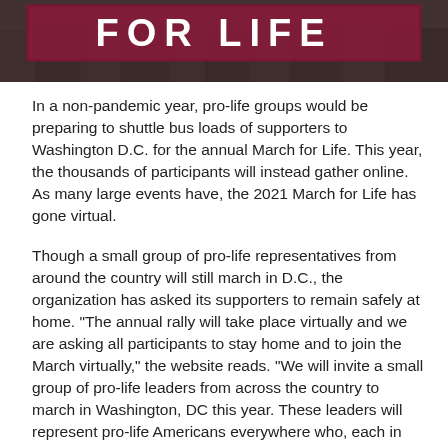[Figure (photo): Banner image showing a crowd at March for Life event with bold text overlay reading 'FOR LIFE' in dark red/maroon on a white background, bordered by a dark maroon rectangle. The image shows people marching, rendered in muted dark tones.]
In a non-pandemic year, pro-life groups would be preparing to shuttle bus loads of supporters to Washington D.C. for the annual March for Life. This year, the thousands of participants will instead gather online. As many large events have, the 2021 March for Life has gone virtual.
Though a small group of pro-life representatives from around the country will still march in D.C., the organization has asked its supporters to remain safely at home. "The annual rally will take place virtually and we are asking all participants to stay home and to join the March virtually," the website reads. "We will invite a small group of pro-life leaders from across the country to march in Washington, DC this year. These leaders will represent pro-life Americans everywhere who, each in their own unique ways, work to make abortion unthinkable and build a